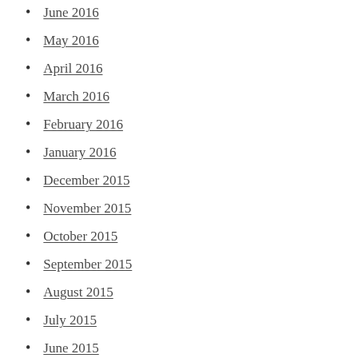June 2016
May 2016
April 2016
March 2016
February 2016
January 2016
December 2015
November 2015
October 2015
September 2015
August 2015
July 2015
June 2015
May 2015
April 2015
March 2015
February 2015
January 2015